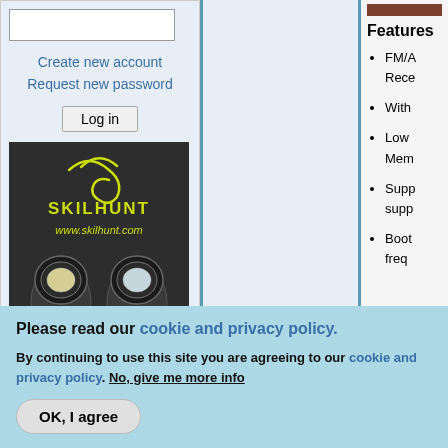Password input field
Create new account
Request new password
Log in
[Figure (photo): Skilhunt advertisement showing two flashlights with yellow logo text on dark background. Website: www.skilhunt.com]
Features
FM/A... Rece...
With...
Low... Mem...
Supp... supp...
Boot... freq...
Please read our cookie and privacy policy.
By continuing to use this site you are agreeing to our cookie and privacy policy. No, give me more info
OK, I agree